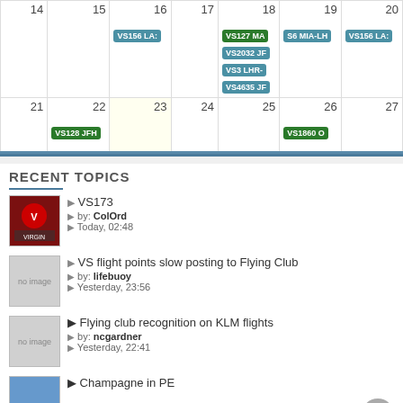[Figure (screenshot): Calendar grid showing days 14-27 with flight tags: VS156 LA on 16, VS127 MA / VS2032 JF / VS3 LHR- / VS4635 JF on 18, S6 MIA-LH on 19, VS156 LA on 20, VS128 JFH on 22, VS1860 O on 26]
RECENT TOPICS
VS173
by: ColOrd
Today, 02:48
VS flight points slow posting to Flying Club
by: lifebuoy
Yesterday, 23:56
Flying club recognition on KLM flights
by: ncgardner
Yesterday, 22:41
Champagne in PE